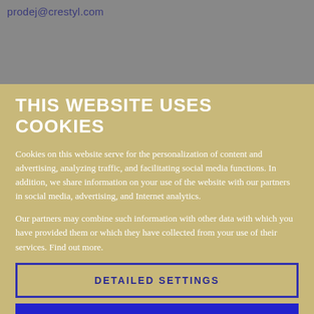prodej@crestyl.com
THIS WEBSITE USES COOKIES
Cookies on this website serve for the personalization of content and advertising, analyzing traffic, and facilitating social media functions. In addition, we share information on your use of the website with our partners in social media, advertising, and Internet analytics.
Our partners may combine such information with other data with which you have provided them or which they have collected from your use of their services. Find out more.
DETAILED SETTINGS
REJECT
CONSENT AND CONTINUE